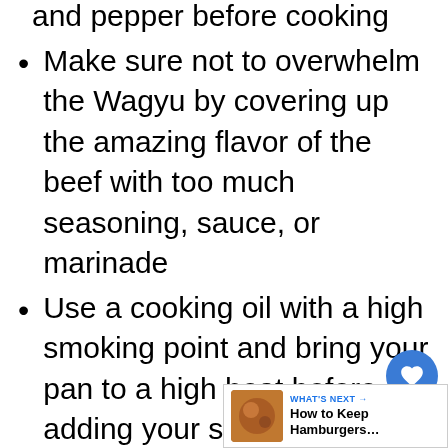and pepper before cooking
Make sure not to overwhelm the Wagyu by covering up the amazing flavor of the beef with too much seasoning, sauce, or marinade
Use a cooking oil with a high smoking point and bring your pan to a high heat before adding your steak to the pan
Gently press on the steak to ensure even cooking and cook for approximately two minutes on each side, until golden and caram…
After searing, finish the wagyu steak